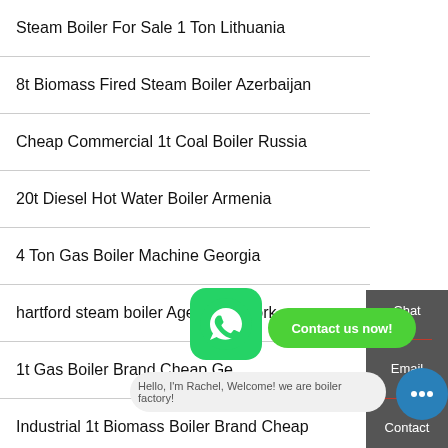Steam Boiler For Sale 1 Ton Lithuania
8t Biomass Fired Steam Boiler Azerbaijan
Cheap Commercial 1t Coal Boiler Russia
20t Diesel Hot Water Boiler Armenia
4 Ton Gas Boiler Machine Georgia
hartford steam boiler Agent new york
1t Gas Boiler Brand Cheap Ge…
Industrial 1t Biomass Boiler Brand Cheap
1t Gas Boiler…
Chat
Email
Contact
Contact us now!
Hello, I'm Rachel, Welcome! we are boiler factory!
Top